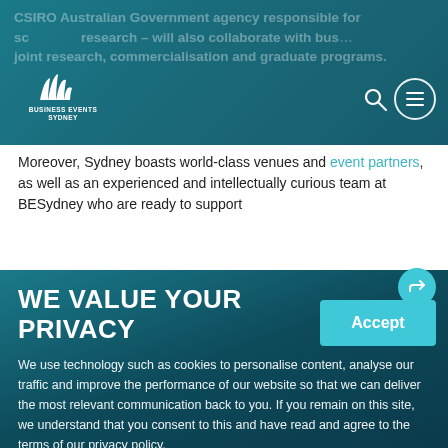CSIRO Australian Government agency responsible for science research – will also collaborate with business on joint research, commercialisation and graduate programs.
[Figure (logo): Business Events Sydney logo with stylised Sydney Opera House sails icon above the text BUSINESS EVENTS SYDNEY]
Moreover, Sydney boasts world-class venues and event partners, as well as an experienced and intellectually curious team at BESydney who are ready to support
WE VALUE YOUR PRIVACY
Accept
We use technology such as cookies to personalise content, analyse our traffic and improve the performance of our website so that we can deliver the most relevant communication back to you. If you remain on this site, we understand that you consent to this and have read and agree to the terms of our privacy policy.